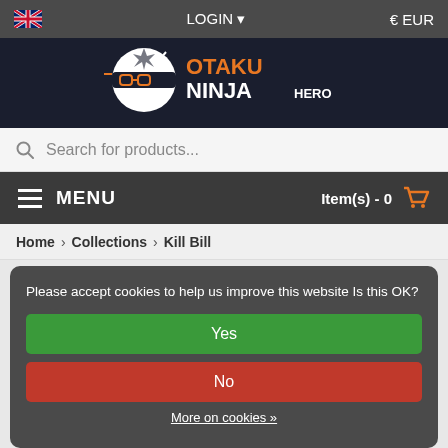LOGIN ▾  € EUR
[Figure (logo): Otaku Ninja Hero logo with cartoon ninja character and orange/white text]
Search for products...
≡ MENU    Item(s) - 0 🛒
Home > Collections > Kill Bill
Please accept cookies to help us improve this website Is this OK?
Yes
No
More on cookies »
NAME ASCENDING ▾